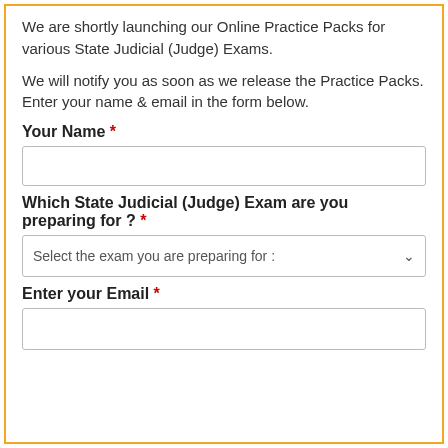We are shortly launching our Online Practice Packs for various State Judicial (Judge) Exams.
We will notify you as soon as we release the Practice Packs. Enter your name & email in the form below.
Your Name *
Which State Judicial (Judge) Exam are you preparing for ? *
Select the exam you are preparing for :
Enter your Email *